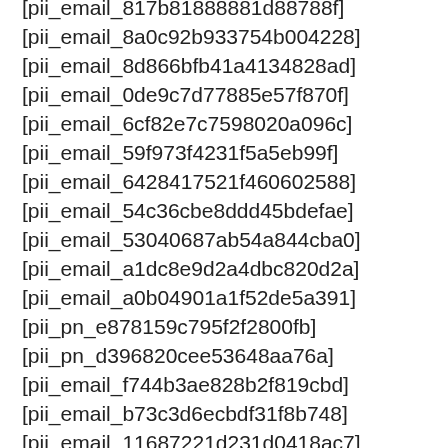[pii_email_817b81888881d88788f]
[pii_email_8a0c92b933754b004228]
[pii_email_8d866bfb41a4134828ad]
[pii_email_0de9c7d77885e57f870f]
[pii_email_6cf82e7c7598020a096c]
[pii_email_59f973f4231f5a5eb99f]
[pii_email_6428417521f460602588]
[pii_email_54c36cbe8ddd45bdefae]
[pii_email_53040687ab54a844cba0]
[pii_email_a1dc8e9d2a4dbc820d2a]
[pii_email_a0b04901a1f52de5a391]
[pii_pn_e878159c795f2f2800fb]
[pii_pn_d396820cee53648aa76a]
[pii_email_f744b3ae828b2f819cbd]
[pii_email_b73c3d6ecbdf31f8b748]
[pii_email_11687221d231d0418ac7]